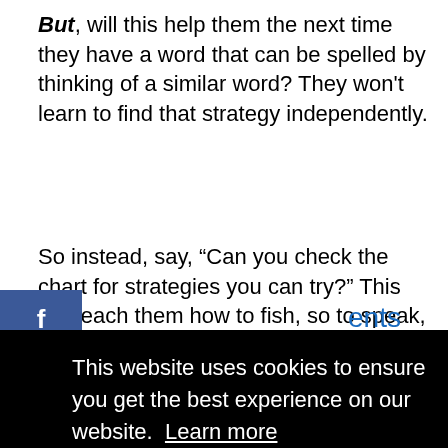But, will this help them the next time they have a word that can be spelled by thinking of a similar word? They won't learn to find that strategy independently.
So instead, say, “Can you check the chart for strategies you can try?” This will teach them how to fish, so to speak, instead of providing
ents
[Figure (screenshot): Cookie consent overlay with black background. Text reads: This website uses cookies to ensure you get the best experience on our website. Learn more. Yellow 'Got it!' button below.]
Which is your favorite spelling strategy? Any